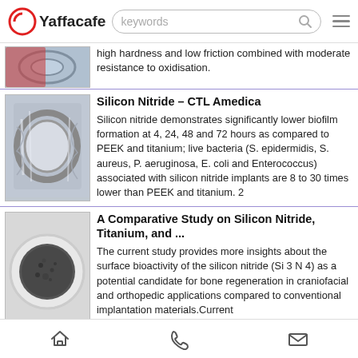[Figure (screenshot): Yaffacafe website header with logo, search bar, and menu icon]
high hardness and low friction combined with moderate resistance to oxidisation.
Silicon Nitride – CTL Amedica
Silicon nitride demonstrates significantly lower biofilm formation at 4, 24, 48 and 72 hours as compared to PEEK and titanium; live bacteria (S. epidermidis, S. aureus, P. aeruginosa, E. coli and Enterococcus) associated with silicon nitride implants are 8 to 30 times lower than PEEK and titanium. 2
A Comparative Study on Silicon Nitride, Titanium, and ...
The current study provides more insights about the surface bioactivity of the silicon nitride (Si 3 N 4) as a potential candidate for bone regeneration in craniofacial and orthopedic applications compared to conventional implantation materials.Current